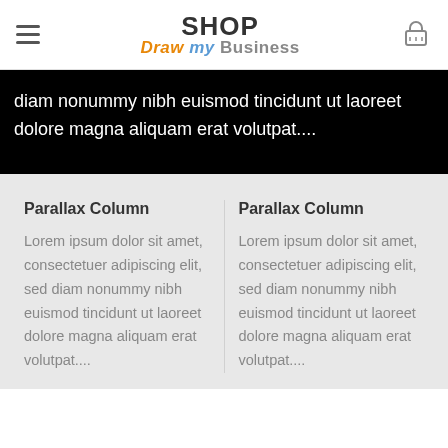SHOP Draw my Business
diam nonummy nibh euismod tincidunt ut laoreet dolore magna aliquam erat volutpat....
Parallax Column
Lorem ipsum dolor sit amet, consectetuer adipiscing elit, sed diam nonummy nibh euismod tincidunt ut laoreet dolore magna aliquam erat volutpat....
Parallax Column
Lorem ipsum dolor sit amet, consectetuer adipiscing elit, sed diam nonummy nibh euismod tincidunt ut laoreet dolore magna aliquam erat volutpat....